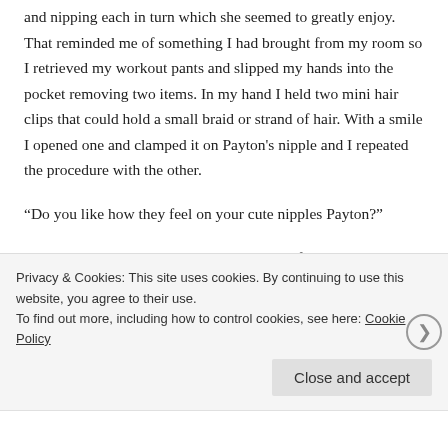the opportunity to taste her cute little nipples, sucking and nipping each in turn which she seemed to greatly enjoy. That reminded me of something I had brought from my room so I retrieved my workout pants and slipped my hands into the pocket removing two items. In my hand I held two mini hair clips that could hold a small braid or strand of hair. With a smile I opened one and clamped it on Payton's nipple and I repeated the procedure with the other.
“Do you like how they feel on your cute nipples Payton?”
She just nodded yes and I saw the mixture of pain and
Privacy & Cookies: This site uses cookies. By continuing to use this website, you agree to their use.
To find out more, including how to control cookies, see here: Cookie Policy
Close and accept